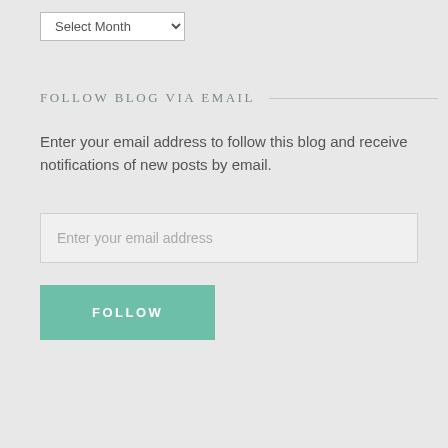Select Month
FOLLOW BLOG VIA EMAIL
Enter your email address to follow this blog and receive notifications of new posts by email.
Enter your email address
FOLLOW